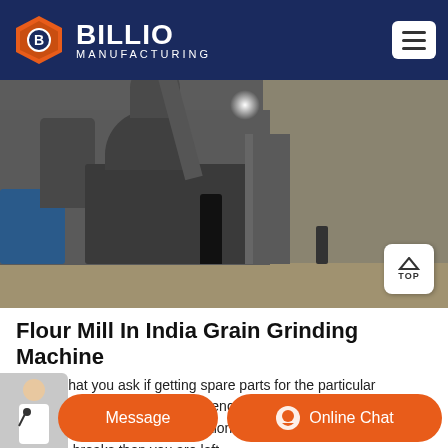BILLIO MANUFACTURING
[Figure (photo): Industrial flour mill / grain grinding machine facility interior showing large machinery, pipes, a blue motor, metal stairs, and a person standing on the factory floor.]
Flour Mill In India Grain Grinding Machine
Ensure that you ask if getting spare parts for the particular machine is easy if the machine encounters a problem. Trust me you do not want to be in a situation whereby if a part of the milling machine breaks then you are left